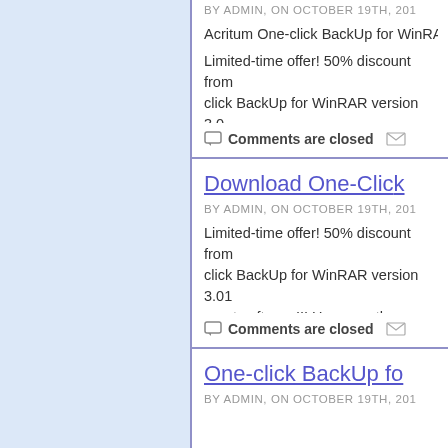BY ADMIN, ON OCTOBER 19TH, 201
Acritum One-click BackUp for WinRAR
Limited-time offer! 50% discount from click BackUp for WinRAR version 3.0 software!!! Hurry up, . . . . → Read Mor
Comments are closed
Download One-Clic
BY ADMIN, ON OCTOBER 19TH, 201
Limited-time offer! 50% discount from click BackUp for WinRAR version 3.01 great software!!! Hurry up, the numbe
BackUp for WinRAR
Comments are closed
One-click BackUp fo
BY ADMIN, ON OCTOBER 19TH, 201